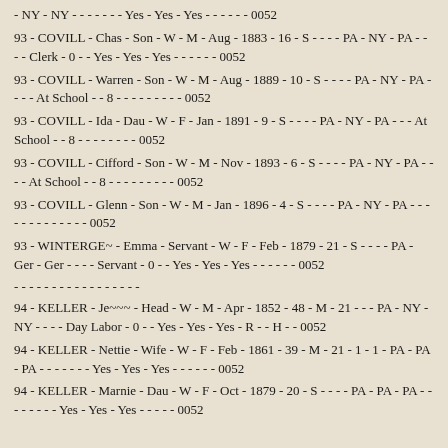- NY - NY - - - - - - - Yes - Yes - Yes - - - - - - 0052
93 - COVILL - Chas - Son - W - M - Aug - 1883 - 16 - S - - - - PA - NY - PA - - - - Clerk - 0 - - Yes - Yes - Yes - - - - - - 0052
93 - COVILL - Warren - Son - W - M - Aug - 1889 - 10 - S - - - - PA - NY - PA - - - - At School - - 8 - - - - - - - - - 0052
93 - COVILL - Ida - Dau - W - F - Jan - 1891 - 9 - S - - - - PA - NY - PA - - - At School - - 8 - - - - - - - - 0052
93 - COVILL - Cifford - Son - W - M - Nov - 1893 - 6 - S - - - - PA - NY - PA - - - - At School - - 8 - - - - - - - - - 0052
93 - COVILL - Glenn - Son - W - M - Jan - 1896 - 4 - S - - - - PA - NY - PA - - - - - - - - - - - - - 0052
93 - WINTERGE~ - Emma - Servant - W - F - Feb - 1879 - 21 - S - - - - PA - Ger - Ger - - - - Servant - 0 - - Yes - Yes - Yes - - - - - - 0052
- - - - - - - - - - - - - - - - -
94 - KELLER - Je~~~ - Head - W - M - Apr - 1852 - 48 - M - 21 - - - PA - NY - NY - - - - Day Labor - 0 - - Yes - Yes - Yes - R - - H - - 0052
94 - KELLER - Nettie - Wife - W - F - Feb - 1861 - 39 - M - 21 - 1 - 1 - PA - PA - PA - - - - - - - Yes - Yes - Yes - - - - - - 0052
94 - KELLER - Marnie - Dau - W - F - Oct - 1879 - 20 - S - - - - PA - PA - PA - - - - - - - - Yes - Yes - Yes - - - - - 0052